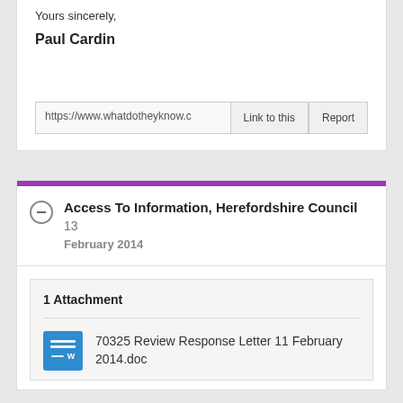Yours sincerely,
Paul Cardin
https://www.whatdotheyknow.c...
Access To Information, Herefordshire Council 13 February 2014
1 Attachment
70325 Review Response Letter 11 February 2014.doc